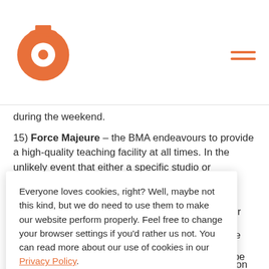BMA logo and navigation
during the weekend.
15) Force Majeure – the BMA endeavours to provide a high-quality teaching facility at all times. In the unlikely event that either a specific studio or [occurrences or] [but not] [will not be] [incurred by]
Everyone loves cookies, right? Well, maybe not this kind, but we do need to use them to make our website perform properly. Feel free to change your browser settings if you'd rather us not. You can read more about our use of cookies in our Privacy Policy.
No probs!
ne to time may be services on